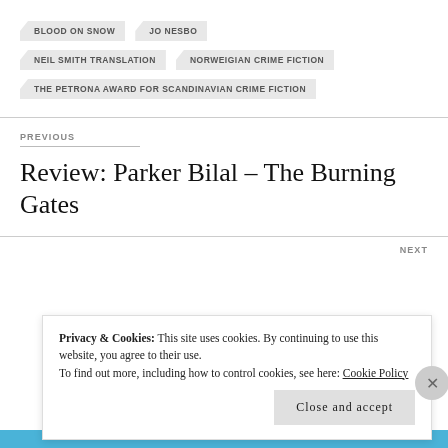BLOOD ON SNOW
JO NESBO
NEIL SMITH TRANSLATION
NORWEIGIAN CRIME FICTION
THE PETRONA AWARD FOR SCANDINAVIAN CRIME FICTION
PREVIOUS
Review: Parker Bilal – The Burning Gates
NEXT
Privacy & Cookies: This site uses cookies. By continuing to use this website, you agree to their use. To find out more, including how to control cookies, see here: Cookie Policy
Close and accept